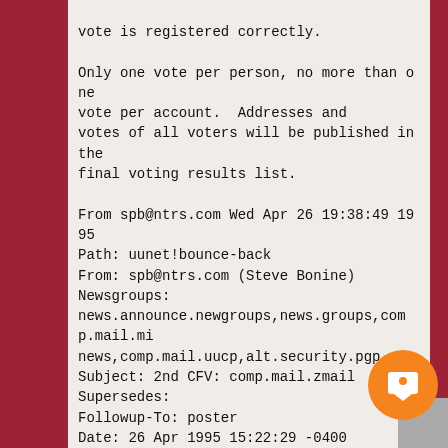vote is registered correctly.

Only one vote per person, no more than one vote per account.  Addresses and votes of all voters will be published in the final voting results list.

From spb@ntrs.com Wed Apr 26 19:38:49 1995
Path: uunet!bounce-back
From: spb@ntrs.com (Steve Bonine)
Newsgroups:
news.announce.newgroups,news.groups,comp.mail.mi
news,comp.mail.uucp,alt.security.pgp
Subject: 2nd CFV: comp.mail.zmail
Supersedes:
Followup-To: poster
Date: 26 Apr 1995 15:22:29 -0400
Organization: Usenet Volunteer Votetakers
Lines: 61
Sender: tale@uunet.uu.net